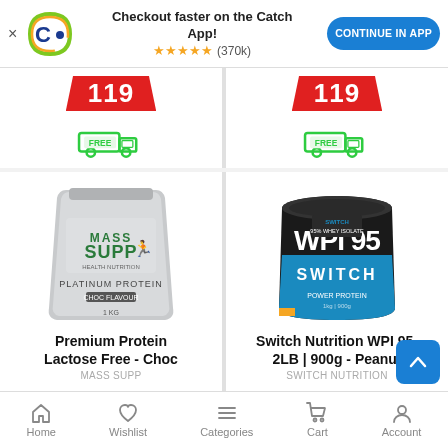[Figure (screenshot): App promotional banner with Catch logo, star rating (370k reviews), and Continue in App button]
Checkout faster on the Catch App!
★★★★★ (370k)
CONTINUE IN APP
[Figure (photo): Product card top half showing price tag 119 and free delivery icon]
[Figure (photo): Product card top half showing price tag 119 and free delivery icon]
[Figure (photo): Mass Supp Platinum Protein bag - Premium Protein Lactose Free - Choc]
Premium Protein Lactose Free - Choc
MASS SUPP
[Figure (photo): Switch Nutrition WPI 95 Switch 2LB/900g protein tub - Peanut flavour]
Switch Nutrition WPI 95- 2LB | 900g - Peanut
SWITCH NUTRITION